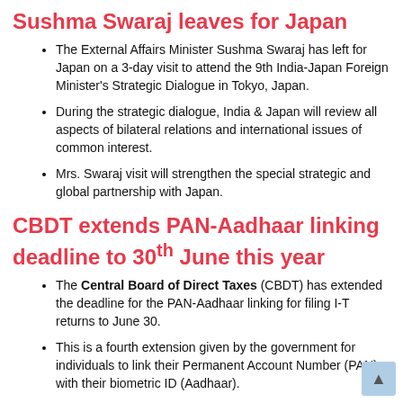Sushma Swaraj leaves for Japan
The External Affairs Minister Sushma Swaraj has left for Japan on a 3-day visit to attend the 9th India-Japan Foreign Minister's Strategic Dialogue in Tokyo, Japan.
During the strategic dialogue, India & Japan will review all aspects of bilateral relations and international issues of common interest.
Mrs. Swaraj visit will strengthen the special strategic and global partnership with Japan.
CBDT extends PAN-Aadhaar linking deadline to 30th June this year
The Central Board of Direct Taxes (CBDT) has extended the deadline for the PAN-Aadhaar linking for filing I-T returns to June 30.
This is a fourth extension given by the government for individuals to link their Permanent Account Number (PAN) with their biometric ID (Aadhaar).
As per updated data till 5th March, over 16.65 crore PANs, out of the total about 33 crores, have been linked with Aadhaar.